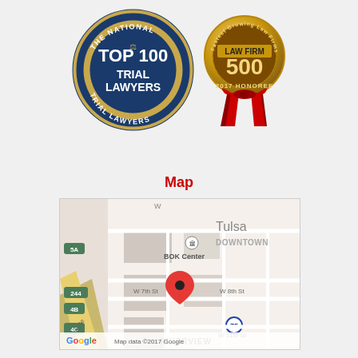[Figure (logo): The National Trial Lawyers Top 100 Trial Lawyers badge - blue circular seal with gold trim]
[Figure (logo): Law Firm 500 2017 Honoree award badge - gold ribbon with red bow]
Map
[Figure (map): Google Map showing Tulsa Downtown area with BOK Center, streets including W 7th St, W 8th St, W 11th St, Riverside, with a red location pin marker. Map data ©2017 Google.]